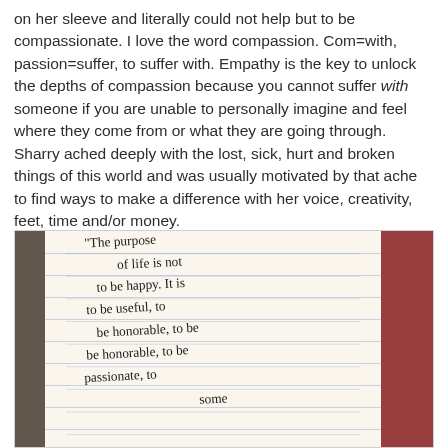on her sleeve and literally could not help but to be compassionate. I love the word compassion. Com=with, passion=suffer, to suffer with. Empathy is the key to unlock the depths of compassion because you cannot suffer with someone if you are unable to personally imagine and feel where they come from or what they are going through. Sharry ached deeply with the lost, sick, hurt and broken things of this world and was usually motivated by that ache to find ways to make a difference with her voice, creativity, feet, time and/or money.
[Figure (photo): Photo of a handwritten note on lined paper reading: 'The purpose of life is not to be happy. It is to be useful, to be honorable, to be compassionate, to some...']